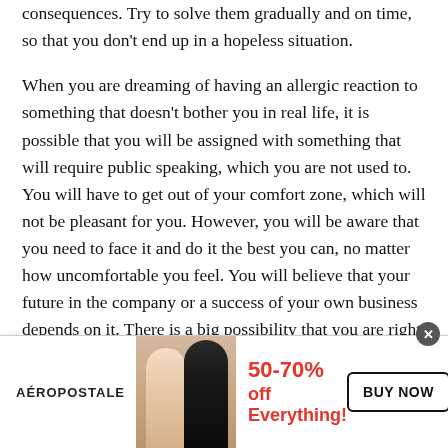consequences. Try to solve them gradually and on time, so that you don't end up in a hopeless situation.
When you are dreaming of having an allergic reaction to something that doesn't bother you in real life, it is possible that you will be assigned with something that will require public speaking, which you are not used to. You will have to get out of your comfort zone, which will not be pleasant for you. However, you will be aware that you need to face it and do it the best you can, no matter how uncomfortable you feel. You will believe that your future in the company or a success of your own business depends on it. There is a big possibility that you are right.
[Figure (other): Aeropostale advertisement banner showing two female models, text '50-70% off Everything!' in red, and a 'BUY NOW' button.]